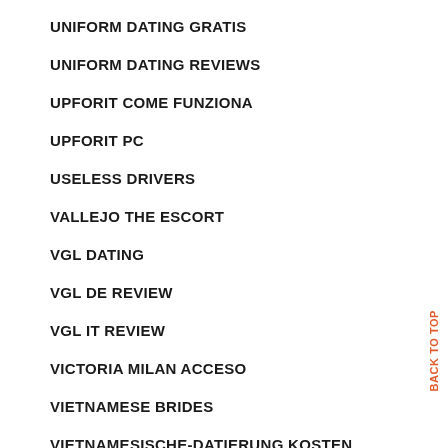UNIFORM DATING GRATIS
UNIFORM DATING REVIEWS
UPFORIT COME FUNZIONA
UPFORIT PC
USELESS DRIVERS
VALLEJO THE ESCORT
VGL DATING
VGL DE REVIEW
VGL IT REVIEW
VICTORIA MILAN ACCESO
VIETNAMESE BRIDES
VIETNAMESISCHE-DATIERUNG KOSTEN
VIRGINIA-BEACH REVIEWS
BACK TO TOP